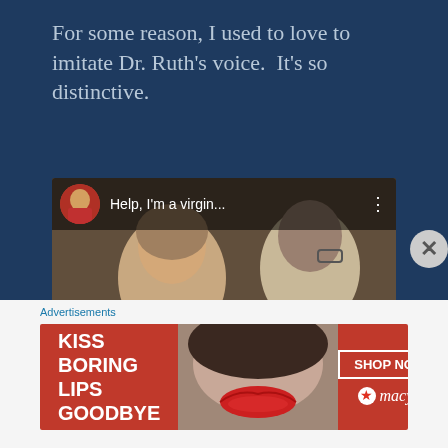For some reason, I used to love to imitate Dr. Ruth's voice.  It's so distinctive.
[Figure (screenshot): YouTube video thumbnail showing two people in conversation. Video title reads 'Help, I'm a virgin...' with a circular avatar thumbnail in the top-left corner and a YouTube play button in the center.]
Advertisements
[Figure (other): Advertisement banner for Macy's reading 'KISS BORING LIPS GOODBYE' with a 'SHOP NOW' button and Macy's star logo, featuring an image of a woman's face with red lipstick.]